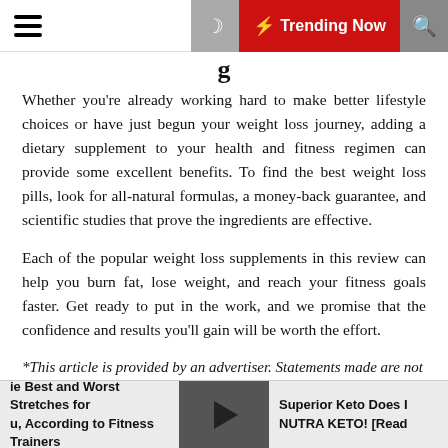Trending Now
Whether you’re already working hard to make better lifestyle choices or have just begun your weight loss journey, adding a dietary supplement to your health and fitness regimen can provide some excellent benefits. To find the best weight loss pills, look for all-natural formulas, a money-back guarantee, and scientific studies that prove the ingredients are effective.
Each of the popular weight loss supplements in this review can help you burn fat, lose weight, and reach your fitness goals faster. Get ready to put in the work, and we promise that the confidence and results you’ll gain will be worth the effort.
*This article is provided by an advertiser. Statements made are not meant to offer medical advice or to diagnose any condition.
The Best and Worst Stretches for You, According to Fitness Trainers | Superior Keto Does It NUTRA KETO! [Read